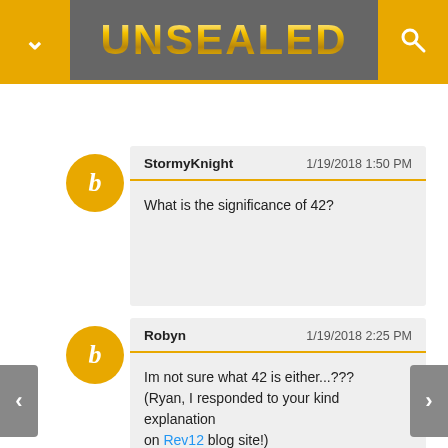UNSEALED
StormyKnight  1/19/2018 1:50 PM
What is the significance of 42?
Robyn  1/19/2018 2:25 PM
Im not sure what 42 is either...???
(Ryan, I responded to your kind explanation on Rev12 blog site!)
Gary  1/19/2018 3:05 PM